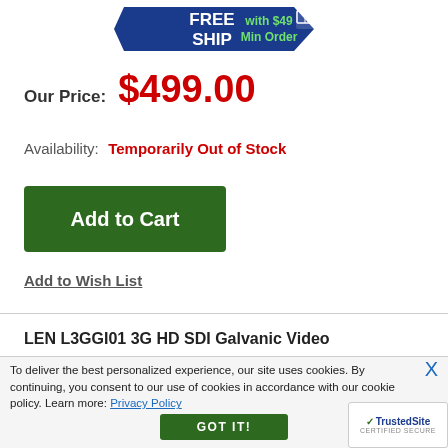[Figure (logo): Free Ship with $49 Min Order badge in blue pentagon/arrow shape with green text]
Our Price: $499.00
Availability: Temporarily Out of Stock
[Figure (other): Green Add to Cart button]
Add to Wish List
LEN L3GGI01 3G HD SDI Galvanic Video
To deliver the best personalized experience, our site uses cookies. By continuing, you consent to our use of cookies in accordance with our cookie policy. Learn more: Privacy Policy
[Figure (other): GOT IT! green button for cookie consent]
[Figure (logo): TrustedSite Certified Secure badge]